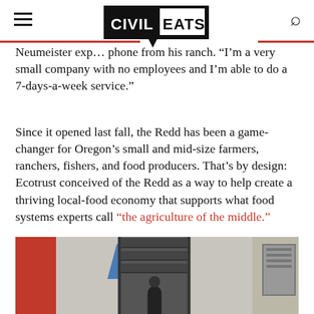Civil Eats
Neumeister exp… phone from his ranch. “I’m a very small company with no employees and I’m able to do a 7-days-a-week service.”
Since it opened last fall, the Redd has been a game-changer for Oregon’s small and mid-size farmers, ranchers, fishers, and food producers. That’s by design: Ecotrust conceived of the Redd as a way to help create a thriving local-food economy that supports what food systems experts call “the agriculture of the middle.”
[Figure (photo): Exterior photo of a building with a red wall on the left, a loading dock door in the center, and a utility panel on the right. A person is visible near the entrance.]